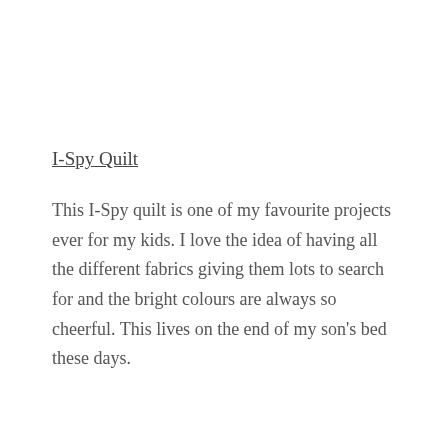I-Spy Quilt
This I-Spy quilt is one of my favourite projects ever for my kids. I love the idea of having all the different fabrics giving them lots to search for and the bright colours are always so cheerful. This lives on the end of my son's bed these days.